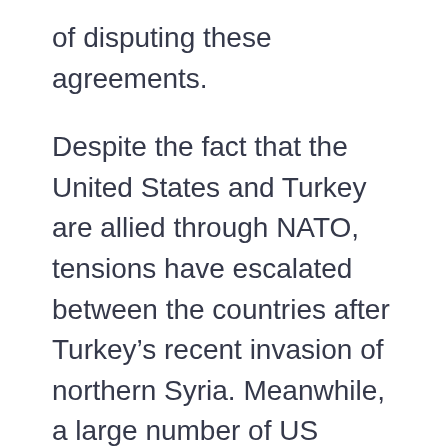of disputing these agreements.
Despite the fact that the United States and Turkey are allied through NATO, tensions have escalated between the countries after Turkey's recent invasion of northern Syria. Meanwhile, a large number of US nuclear bombs are being held at the Incirlik Air Base in southeast Turkey, which the two countries have previously shared.
The nuclear arsenal in the United States